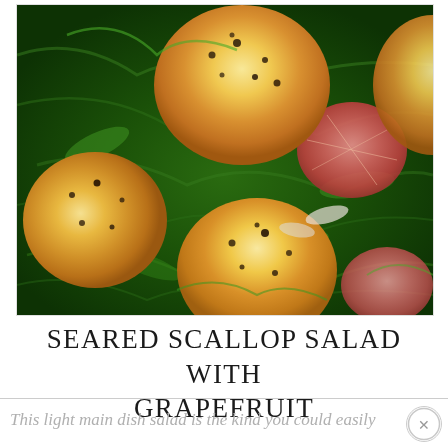[Figure (photo): Close-up photograph of seared scallops on a bed of arugula salad with pink grapefruit segments. The scallops are golden-brown with black pepper, placed on bright green arugula leaves with visible grapefruit pieces in the background.]
SEARED SCALLOP SALAD WITH GRAPEFRUIT
This light main dish salad is the kind you could easily